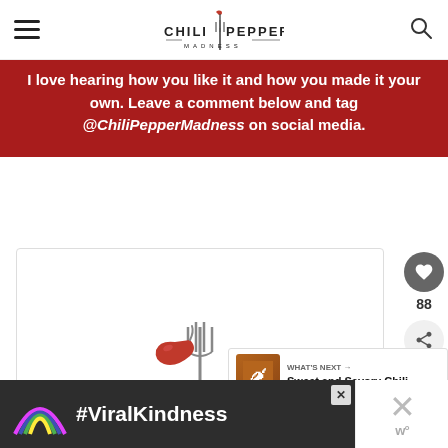Chili Pepper Madness
I love hearing how you like it and how you made it your own. Leave a comment below and tag @ChiliPepperMadness on social media.
[Figure (logo): Chili Pepper Madness logo with fork and chili pepper inside a white card area]
88
WHAT'S NEXT → Sweet and Savory Chili...
[Figure (infographic): Advertisement banner with rainbow graphic and #ViralKindness text on dark background]